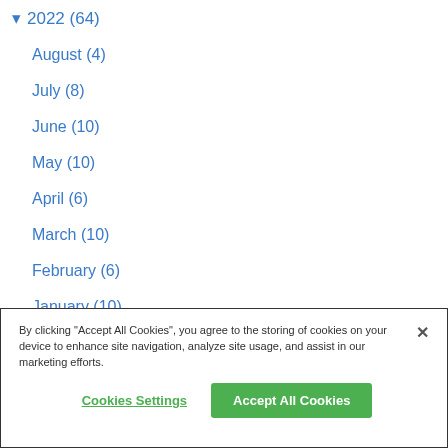▾ 2022 (64)
August (4)
July (8)
June (10)
May (10)
April (6)
March (10)
February (6)
January (10)
By clicking "Accept All Cookies", you agree to the storing of cookies on your device to enhance site navigation, analyze site usage, and assist in our marketing efforts.
Cookies Settings
Accept All Cookies